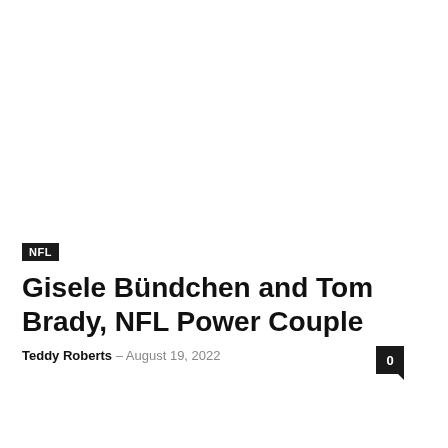NFL
Gisele Bündchen and Tom Brady, NFL Power Couple
Teddy Roberts – August 19, 2022